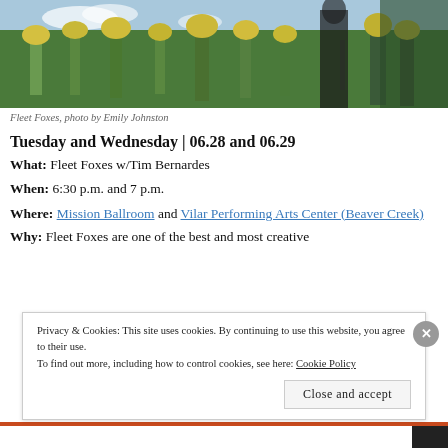[Figure (photo): Outdoor photo showing a person among tall yellow wildflowers with a blue sky and trees in the background.]
Fleet Foxes, photo by Emily Johnston
Tuesday and Wednesday | 06.28 and 06.29
What: Fleet Foxes w/Tim Bernardes
When: 6:30 p.m. and 7 p.m.
Where: Mission Ballroom and Vilar Performing Arts Center (Beaver Creek)
Why: Fleet Foxes are one of the best and most creative
Privacy & Cookies: This site uses cookies. By continuing to use this website, you agree to their use.
To find out more, including how to control cookies, see here: Cookie Policy